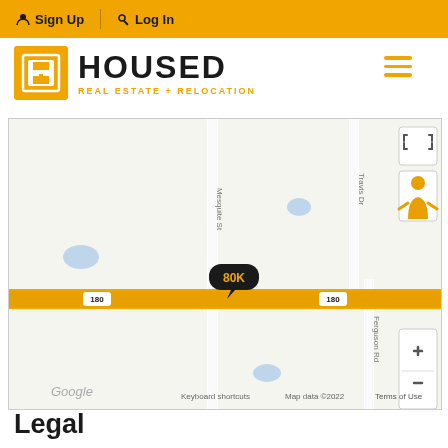Sign Up | Log In
[Figure (logo): HOUSED Real Estate + Relocation logo with golden H icon]
[Figure (map): Google Maps view showing intersection of highway 180 and Mesquite St / Travis Dr / Ferguson Rd with an 80K property price marker]
Legal